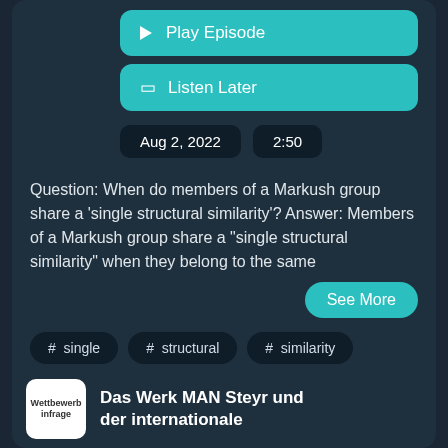[Figure (screenshot): Play Episode button (teal/cyan rounded rectangle)]
[Figure (screenshot): Listen Later button (teal/cyan rounded rectangle)]
Aug 2, 2022   2:50
Question: When do members of a Markush group share a 'single structural similarity'? Answer: Members of a Markush group share a "single structural similarity" when they belong to the same
[Figure (screenshot): See More button (teal rounded pill)]
# single
# structural
# similarity
# patentability
Das Werk MAN Steyr und der internationale
[Figure (logo): Wettbewerb infrage logo white box]